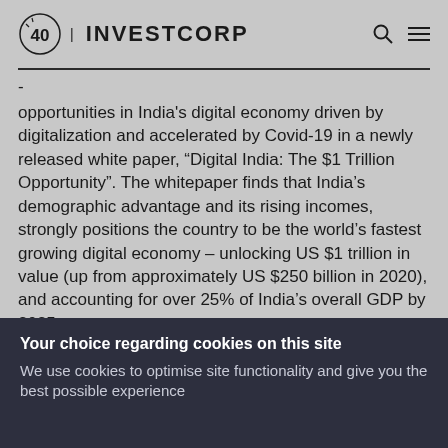40 | INVESTCORP
opportunities in India's digital economy driven by digitalization and accelerated by Covid-19 in a newly released white paper, “Digital India: The $1 Trillion Opportunity”. The whitepaper finds that India’s demographic advantage and its rising incomes, strongly positions the country to be the world’s fastest growing digital economy – unlocking US $1 trillion in value (up from approximately US $250 billion in 2020), and accounting for over 25% of India’s overall GDP by 2025.
Your choice regarding cookies on this site
We use cookies to optimise site functionality and give you the best possible experience